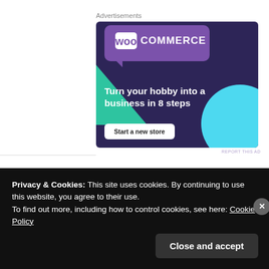Advertisements
[Figure (illustration): WooCommerce advertisement banner with dark purple background, WOO COMMERCE logo in speech bubble, green triangle and teal circle decorative shapes, headline 'Turn your hobby into a business in 8 steps', and white 'Start a new store' CTA button]
REPORT THIS AD
Privacy & Cookies: This site uses cookies. By continuing to use this website, you agree to their use.
To find out more, including how to control cookies, see here: Cookie Policy
Close and accept